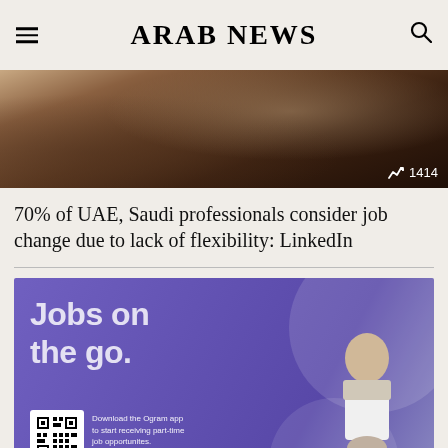ARAB NEWS
[Figure (photo): Dark brown/moody photo showing a hand near a laptop keyboard and what appears to be a desk setup. Trending badge shows 1414.]
70% of UAE, Saudi professionals consider job change due to lack of flexibility: LinkedIn
[Figure (photo): Purple advertisement banner reading 'Jobs on the go.' with a QR code, text 'Download the Ogram app to start receiving part-time job opportunites.' and a person on a bicycle.]